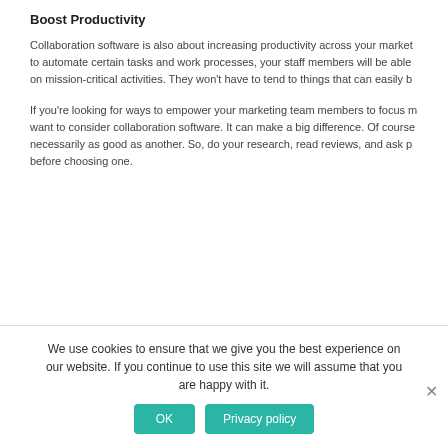Boost Productivity
Collaboration software is also about increasing productivity across your market to automate certain tasks and work processes, your staff members will be able on mission-critical activities. They won't have to tend to things that can easily b
If you're looking for ways to empower your marketing team members to focus m want to consider collaboration software. It can make a big difference. Of course necessarily as good as another. So, do your research, read reviews, and ask p before choosing one.
We use cookies to ensure that we give you the best experience on our website. If you continue to use this site we will assume that you are happy with it.